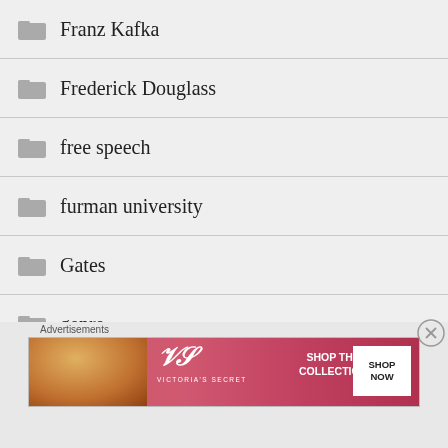Franz Kafka
Frederick Douglass
free speech
furman university
Gates
genre
George Carlin
George Orwell
Advertisements
[Figure (photo): Victoria's Secret advertisement banner with woman, VS logo, 'SHOP THE COLLECTION' text, and 'SHOP NOW' button]